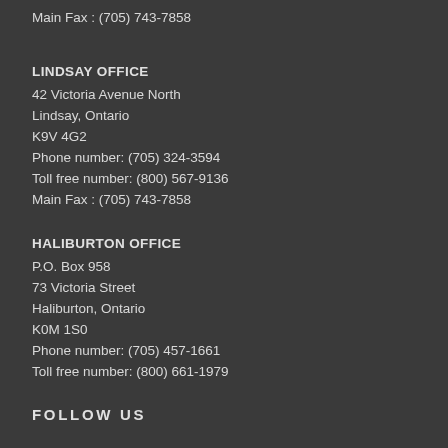Main Fax : (705) 743-7858
LINDSAY OFFICE
42 Victoria Avenue North
Lindsay, Ontario
K9V 4G2
Phone number: (705) 324-3594
Toll free number: (800) 567-9136
Main Fax : (705) 743-7858
HALIBURTON OFFICE
P.O. Box 958
73 Victoria Street
Haliburton, Ontario
K0M 1S0
Phone number: (705) 457-1661
Toll free number: (800) 661-1979
FOLLOW US